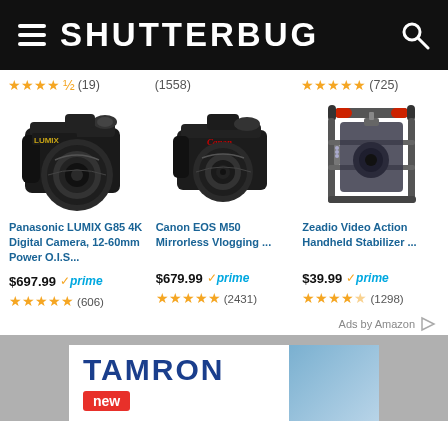SHUTTERBUG
★★★★½ (19) (1558) ★★★★★ (725)
[Figure (photo): Panasonic LUMIX G85 mirrorless camera with 12-60mm lens]
[Figure (photo): Canon EOS M50 mirrorless camera]
[Figure (photo): Zeadio Video Action Handheld Stabilizer camera cage]
Panasonic LUMIX G85 4K Digital Camera, 12-60mm Power O.I.S...
Canon EOS M50 Mirrorless Vlogging ...
Zeadio Video Action Handheld Stabilizer ...
$697.99 ✓prime ★★★★★ (606)
$679.99 ✓prime ★★★★★ (2431)
$39.99 ✓prime ★★★★½ (1298)
Ads by Amazon
[Figure (logo): TAMRON advertisement with 'new' badge and blue gradient background]